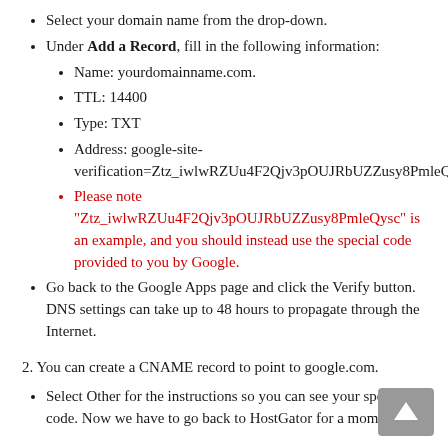Select your domain name from the drop-down.
Under Add a Record, fill in the following information:
Name: yourdomainname.com.
TTL: 14400
Type: TXT
Address: google-site-verification=Ztz_iwlwRZUu4F2Qjv3pOUJRbUZZusy8PmleQysc
Please note "Ztz_iwlwRZUu4F2Qjv3pOUJRbUZZusy8PmleQysc" is an example, and you should instead use the special code provided to you by Google.
Go back to the Google Apps page and click the Verify button. DNS settings can take up to 48 hours to propagate through the Internet.
2. You can create a CNAME record to point to google.com.
Select Other for the instructions so you can see your special code. Now we have to go back to HostGator for a moment.